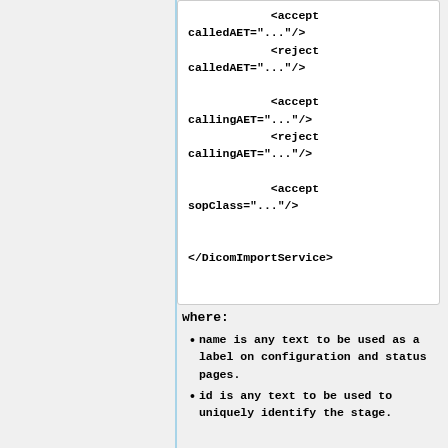[Figure (other): Code block showing XML configuration with accept/reject calledAET, callingAET, sopClass elements and closing DicomImportService tag]
where:
name is any text to be used as a label on configuration and status pages.
id is any text to be used to uniquely identify the stage.